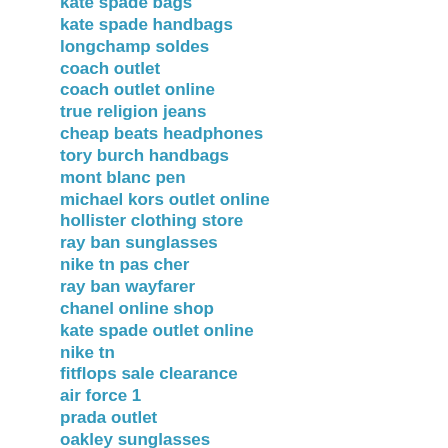kate spade bags
kate spade handbags
longchamp soldes
coach outlet
coach outlet online
true religion jeans
cheap beats headphones
tory burch handbags
mont blanc pen
michael kors outlet online
hollister clothing store
ray ban sunglasses
nike tn pas cher
ray ban wayfarer
chanel online shop
kate spade outlet online
nike tn
fitflops sale clearance
air force 1
prada outlet
oakley sunglasses
ray ban sunglasses
cheap soccer shoes